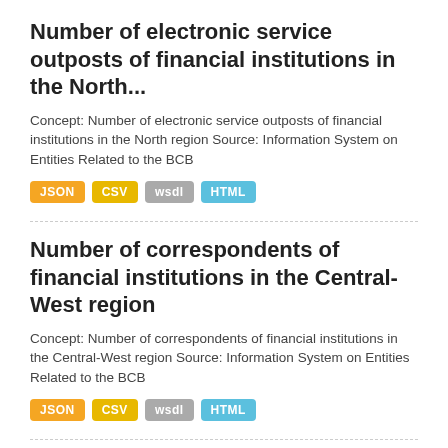Number of electronic service outposts of financial institutions in the North...
Concept: Number of electronic service outposts of financial institutions in the North region Source: Information System on Entities Related to the BCB
JSON CSV wsdl HTML
Number of correspondents of financial institutions in the Central-West region
Concept: Number of correspondents of financial institutions in the Central-West region Source: Information System on Entities Related to the BCB
JSON CSV wsdl HTML
Number of correspondents of financial institutions in the Northeast region
Concept: Number of correspondents of financial institutions in the Northeast region Source: Information System on